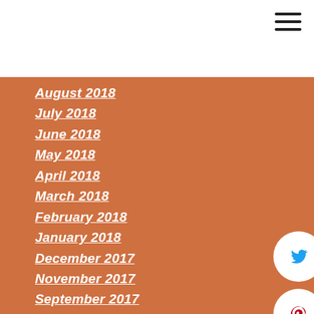August 2018
July 2018
June 2018
May 2018
April 2018
March 2018
February 2018
January 2018
December 2017
November 2017
September 2017
August 2017
July 2017
June 2017
May 2017
April 2017
[Figure (illustration): Twitter, Pinterest, and Facebook social media icon buttons (circular white buttons with colored icons)]